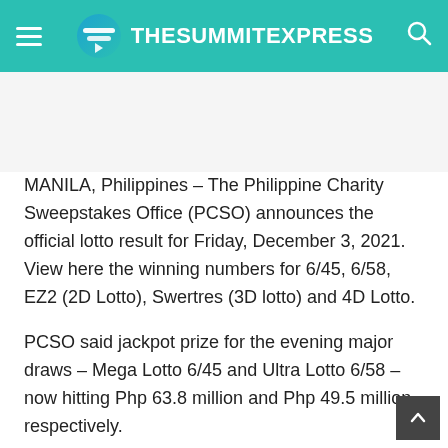TheSummitExpress
MANILA, Philippines – The Philippine Charity Sweepstakes Office (PCSO) announces the official lotto result for Friday, December 3, 2021. View here the winning numbers for 6/45, 6/58, EZ2 (2D Lotto), Swertres (3D lotto) and 4D Lotto.
PCSO said jackpot prize for the evening major draws – Mega Lotto 6/45 and Ultra Lotto 6/58 – now hitting Php 63.8 million and Php 49.5 million, respectively.
The agency reminds bettors that lotto outlets are ope...